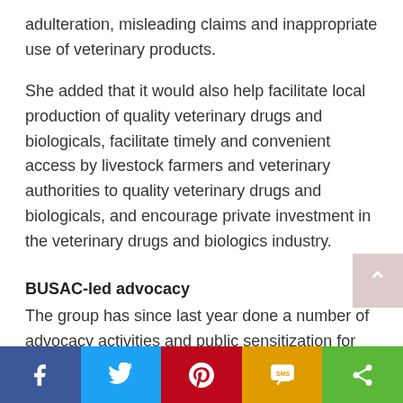adulteration, misleading claims and inappropriate use of veterinary products.
She added that it would also help facilitate local production of quality veterinary drugs and biologicals, facilitate timely and convenient access by livestock farmers and veterinary authorities to quality veterinary drugs and biologicals, and encourage private investment in the veterinary drugs and biologics industry.
BUSAC-led advocacy
The group has since last year done a number of advocacy activities and public sensitization for the